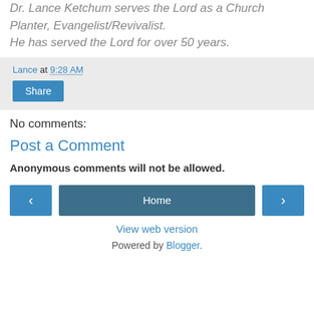Dr. Lance Ketchum serves the Lord as a Church Planter, Evangelist/Revivalist. He has served the Lord for over 50 years.
Lance at 9:28 AM
Share
No comments:
Post a Comment
Anonymous comments will not be allowed.
‹  Home  ›
View web version
Powered by Blogger.